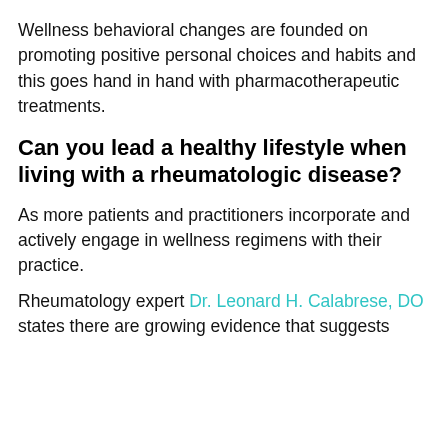Wellness behavioral changes are founded on promoting positive personal choices and habits and this goes hand in hand with pharmacotherapeutic treatments.
Can you lead a healthy lifestyle when living with a rheumatologic disease?
As more patients and practitioners incorporate and actively engage in wellness regimens with their practice.
Rheumatology expert Dr. Leonard H. Calabrese, DO states there are growing evidence that suggests